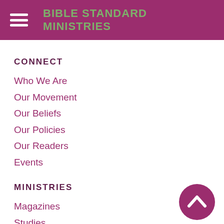BIBLE STANDARD MINISTRIES
CONNECT
Who We Are
Our Movement
Our Beliefs
Our Policies
Our Readers
Events
MINISTRIES
[Figure (illustration): Purple circular scroll-to-top button with an upward chevron arrow]
Magazines
Studies